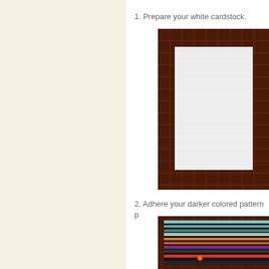1. Prepare your white cardstock.
[Figure (photo): White cardstock paper centered on a dark brown plaid/tartan patterned background, showing the cardstock with a textured surface.]
2. Adhere your darker colored pattern p
[Figure (photo): Colorful horizontal striped pattern paper on a dark brown plaid background, showing multi-colored stripes in teal, black, orange, purple and other colors.]